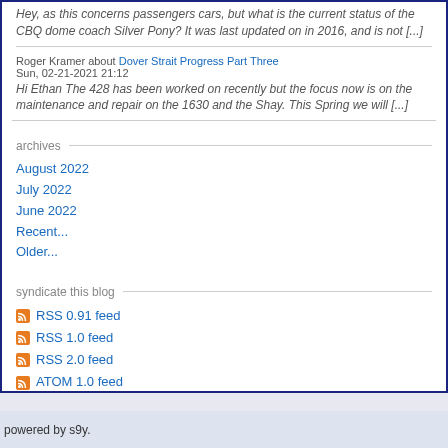Hey, as this concerns passengers cars, but what is the current status of the CBQ dome coach Silver Pony? It was last updated on in 2016, and is not [...]
Roger Kramer about Dover Strait Progress Part Three
Sun, 02-21-2021 21:12
Hi Ethan The 428 has been worked on recently but the focus now is on the maintenance and repair on the 1630 and the Shay. This Spring we will [...]
archives
August 2022
July 2022
June 2022
Recent...
Older...
syndicate this blog
RSS 0.91 feed
RSS 1.0 feed
RSS 2.0 feed
ATOM 1.0 feed
powered by s9y.